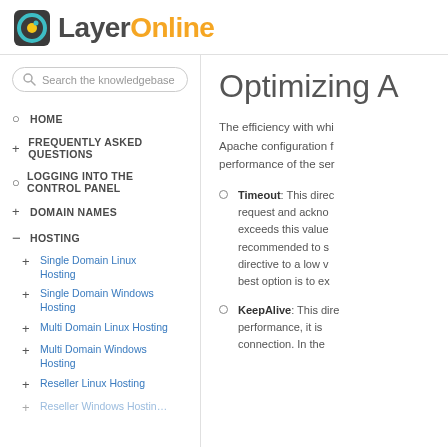[Figure (logo): LayerOnline logo with teal/yellow circular icon and text 'LayerOnline']
Search the knowledgebase
HOME
FREQUENTLY ASKED QUESTIONS
LOGGING INTO THE CONTROL PANEL
DOMAIN NAMES
HOSTING
Single Domain Linux Hosting
Single Domain Windows Hosting
Multi Domain Linux Hosting
Multi Domain Windows Hosting
Reseller Linux Hosting
Optimizing A
The efficiency with which Apache configuration f performance of the ser
Timeout: This direc request and ackno exceeds this value recommended to s directive to a low v best option is to ex
KeepAlive: This dire performance, it is connection. In the